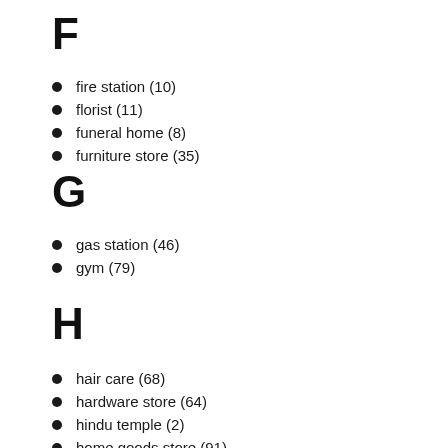F
fire station (10)
florist (11)
funeral home (8)
furniture store (35)
G
gas station (46)
gym (79)
H
hair care (68)
hardware store (64)
hindu temple (2)
home goods store (91)
hospital (54)